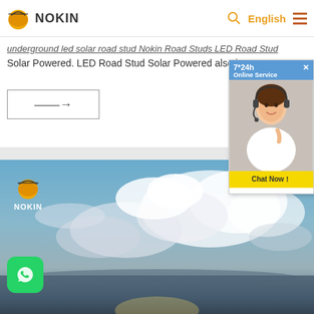NOKIN | English
underground led solar road stud Nokin Road Studs LED Road Stud Solar Powered. LED Road Stud Solar Powered also known a
DATE :
[Figure (photo): Customer service popup with woman wearing headset, 7*24h Online Service label, and Chat Now! button]
[Figure (photo): Sky photo with white clouds and NOKIN logo overlay, WhatsApp contact button in bottom left corner]